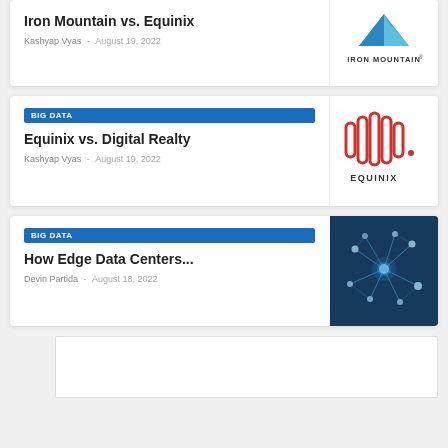Iron Mountain vs. Equinix | Kashyap Vyas - August 19, 2022
[Figure (logo): Iron Mountain logo with blue mountain triangle and IRON MOUNTAIN® text]
BIG DATA | Equinix vs. Digital Realty | Kashyap Vyas - August 19, 2022
[Figure (logo): Equinix logo with red vertical bars and EQUINIX text]
BIG DATA | How Edge Data Centers... | Devin Partida - August 18, 2022
[Figure (photo): Dark blue background with glowing network nodes and connections illustration]
[Figure (other): Advertisement placeholder box with X close button]